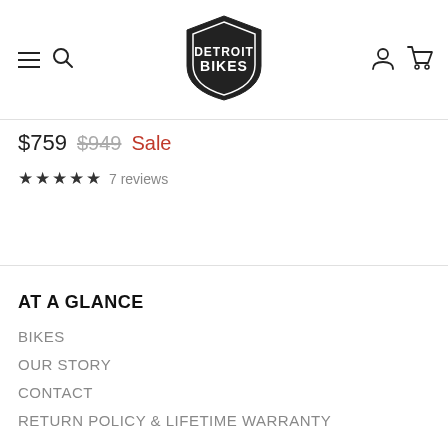[Figure (logo): Detroit Bikes shield logo in black with white text]
$759  $949  Sale
★★★★★ 7 reviews
AT A GLANCE
BIKES
OUR STORY
CONTACT
RETURN POLICY & LIFETIME WARRANTY